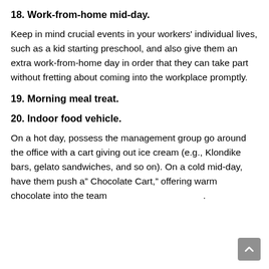18. Work-from-home mid-day.
Keep in mind crucial events in your workers' individual lives, such as a kid starting preschool, and also give them an extra work-from-home day in order that they can take part without fretting about coming into the workplace promptly.
19. Morning meal treat.
20. Indoor food vehicle.
On a hot day, possess the management group go around the office with a cart giving out ice cream (e.g., Klondike bars, gelato sandwiches, and so on). On a cold mid-day, have them push a” Chocolate Cart,” offering warm chocolate into the team .